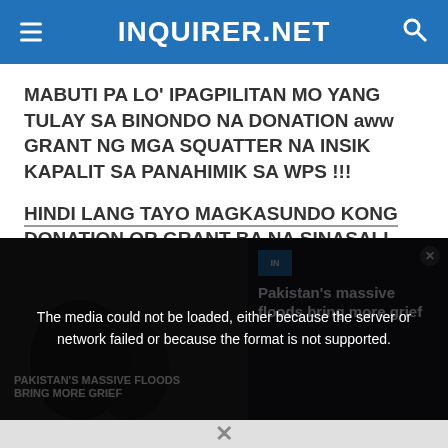INQUIRER.NET
MABUTI PA LO' IPAGPILITAN MO YANG TULAY SA BINONDO NA DONATION aww GRANT NG MGA SQUATTER NA INSIK KAPALIT SA PANAHIMIK SA WPS !!!
HINDI LANG TAYO MAGKASUNDO KONG DONATION OR GRANT BA NA SINASALI
Read more
[Figure (screenshot): Comment action buttons: thumbs up, thumbs down, Share, Reply, flag, and more options (...)]
[Figure (screenshot): Video/media player overlay showing 'The media could not be loaded, either because the server or network failed or because the format is not supported.' Error message over a dark background with news video thumbnail. Right side shows headline: Pakistan's massive floods bring more grief. Bottom shows an X close button.]